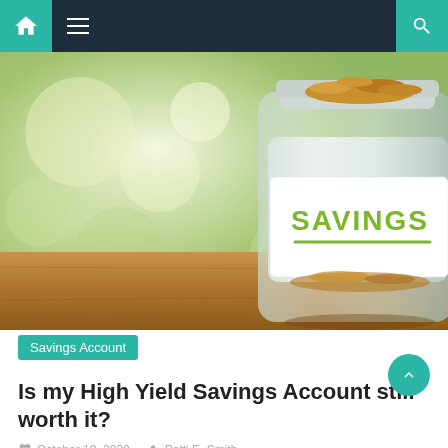Navigation bar with home icon, hamburger menu, and search icon
[Figure (photo): A glass jar filled with coins labeled SAVINGS in green handwritten text on a white label, sitting on a wooden surface with a blurred green bokeh background]
Savings Account
Is my High Yield Savings Account still worth it?
October 19, 2020   Patti E. Smith